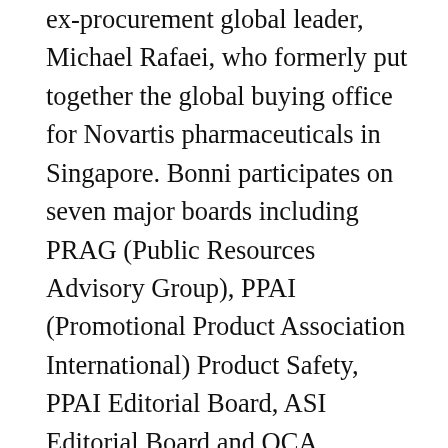ex-procurement global leader, Michael Rafaei, who formerly put together the global buying office for Novartis pharmaceuticals in Singapore. Bonni participates on seven major boards including PRAG (Public Resources Advisory Group), PPAI (Promotional Product Association International) Product Safety, PPAI Editorial Board, ASI Editorial Board and QCA (Quality Certification Alliance). Bonni was presented Entrepreneur of the Year in 2004. In 2005, DARD Design International won an Incentive Marketing Award and from then on has been included on ASI's Multi-Million Roundtable. In 2008, Bonni made Counselor Magazine's Power 50 List, and Bonni was named Counselor Magazine's International person of the Year in 2009 and also made the magazine's 2009 Hot List as “The Innovator” (the 3rd woman to be on this